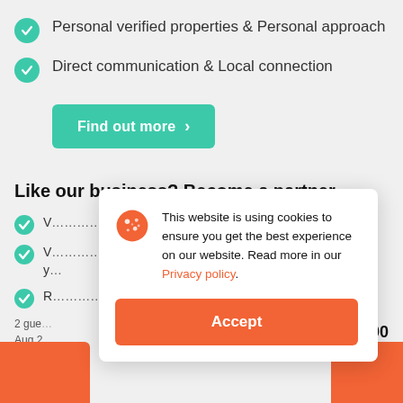Personal verified properties & Personal approach
Direct communication & Local connection
Find out more >
Like our business? Become a partner.
V... ss
V... ess in y...
R... s
2 gue... Aug 2...
0.00
This website is using cookies to ensure you get the best experience on our website. Read more in our Privacy policy.
Accept